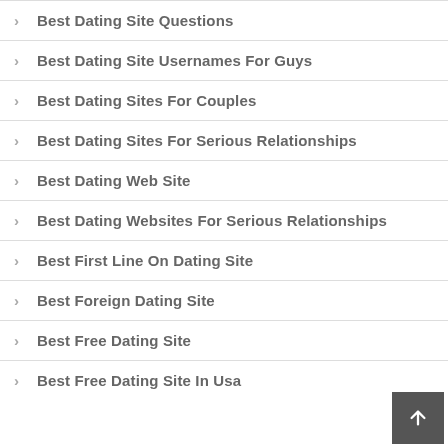Best Dating Site Questions
Best Dating Site Usernames For Guys
Best Dating Sites For Couples
Best Dating Sites For Serious Relationships
Best Dating Web Site
Best Dating Websites For Serious Relationships
Best First Line On Dating Site
Best Foreign Dating Site
Best Free Dating Site
Best Free Dating Site In Usa